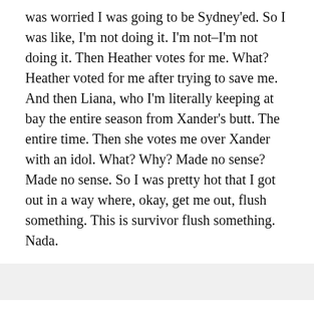was worried I was going to be Sydney'ed. So I was like, I'm not doing it. I'm not–I'm not doing it. Then Heather votes for me. What? Heather voted for me after trying to save me. And then Liana, who I'm literally keeping at bay the entire season from Xander's butt. The entire time. Then she votes me over Xander with an idol. What? Why? Made no sense? Made no sense. So I was pretty hot that I got out in a way where, okay, get me out, flush something. This is survivor flush something. Nada.
KJ- It was just interesting how, you know, Heather's rule hadn't been very big, at least from the viewers perspective until this show. And then and then all the drama unfolding near the end of it really comes to